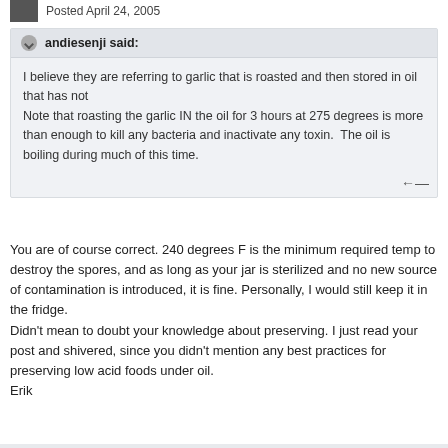Posted April 24, 2005
andiesenji said:
I believe they are referring to garlic that is roasted and then stored in oil that has not
Note that roasting the garlic IN the oil for 3 hours at 275 degrees is more than enough to kill any bacteria and inactivate any toxin.  The oil is boiling during much of this time.
You are of course correct. 240 degrees F is the minimum required temp to destroy the spores, and as long as your jar is sterilized and no new source of contamination is introduced, it is fine. Personally, I would still keep it in the fridge.
Didn't mean to doubt your knowledge about preserving. I just read your post and shivered, since you didn't mention any best practices for preserving low acid foods under oil.
Erik